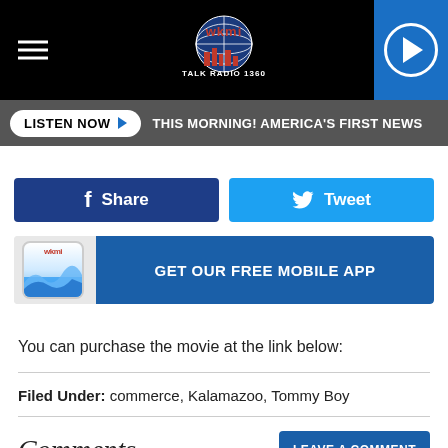[Figure (screenshot): WKMI Talk Radio 1360 website header with hamburger menu on left, WKMI globe logo in center, and blue play button on right]
LISTEN NOW ▶  THIS MORNING! AMERICA'S FIRST NEWS
[Figure (screenshot): Facebook Share button and Twitter Tweet button side by side]
[Figure (screenshot): WKMI app logo and GET OUR FREE MOBILE APP banner]
You can purchase the movie at the link below:
Filed Under: commerce, Kalamazoo, Tommy Boy
Comments
LEAVE A COMMENT